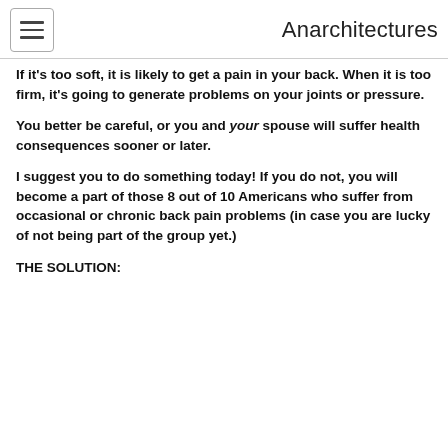Anarchitectures
If it's too soft, it is likely to get a pain in your back. When it is too firm, it's going to generate problems on your joints or pressure.
You better be careful, or you and your spouse will suffer health consequences sooner or later.
I suggest you to do something today! If you do not, you will become a part of those 8 out of 10 Americans who suffer from occasional or chronic back pain problems (in case you are lucky of not being part of the group yet.)
THE SOLUTION: